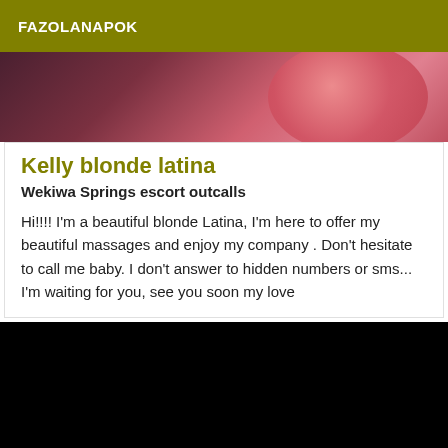FAZOLANAPOK
[Figure (photo): Partial photo showing pink/red tones with dark background, cropped body/object image]
Kelly blonde latina
Wekiwa Springs escort outcalls
Hi!!!! I'm a beautiful blonde Latina, I'm here to offer my beautiful massages and enjoy my company . Don't hesitate to call me baby. I don't answer to hidden numbers or sms... I'm waiting for you, see you soon my love
[Figure (photo): Black image, very dark photo below the card]